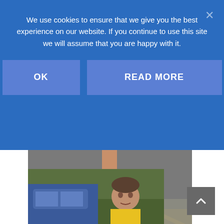We use cookies to ensure that we give you the best experience on our website. If you continue to use this site we will assume that you are happy with it.
[Figure (screenshot): Cookie consent overlay with blue background showing text and two buttons: OK and READ MORE, with an X close button]
[Figure (photo): Close-up photo of a runner's leg and yellow running shoe on asphalt road with grass/curb visible]
[Figure (photo): Photo of a man standing near a blue car with green foliage in background, appears to be wearing a running vest]